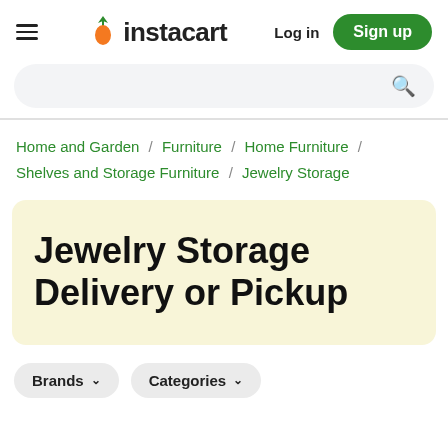Instacart — Log in | Sign up
Search bar
Home and Garden / Furniture / Home Furniture / Shelves and Storage Furniture / Jewelry Storage
Jewelry Storage Delivery or Pickup
Brands ∨   Categories ∨